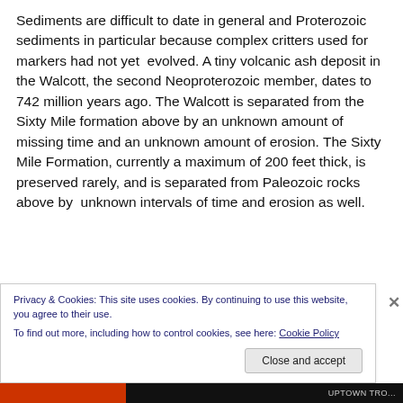Sediments are difficult to date in general and Proterozoic sediments in particular because complex critters used for markers had not yet evolved. A tiny volcanic ash deposit in the Walcott, the second Neoproterozoic member, dates to 742 million years ago. The Walcott is separated from the Sixty Mile formation above by an unknown amount of missing time and an unknown amount of erosion. The Sixty Mile Formation, currently a maximum of 200 feet thick, is preserved rarely, and is separated from Paleozoic rocks above by unknown intervals of time and erosion as well.
Privacy & Cookies: This site uses cookies. By continuing to use this website, you agree to their use.
To find out more, including how to control cookies, see here: Cookie Policy